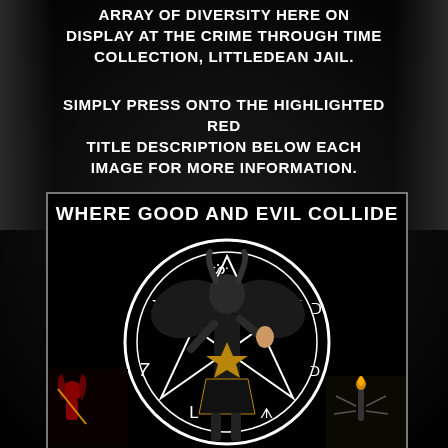ARRAY OF DIVERSITY HERE ON DISPLAY AT THE CRIME THROUGH TIME COLLECTION, LITTLEDEAN JAIL.
SIMPLY PRESS ONTO THE HIGHLIGHTED RED TITLE DESCRIPTION BELOW EACH IMAGE FOR MORE INFORMATION.
[Figure (illustration): Dark occult illustration with Baphomet figure inside a pentagram circle with the title WHERE GOOD AND EVIL COLLIDE, smaller occult figures at the bottom corners]